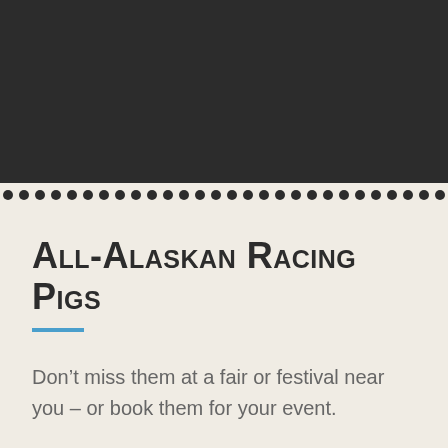[Figure (illustration): Dark charcoal/black rectangular header background with decorative perforation/torn-edge row at the bottom]
All-Alaskan Racing Pigs
Don't miss them at a fair or festival near you – or book them for your event.
You Never Sausage a Show!